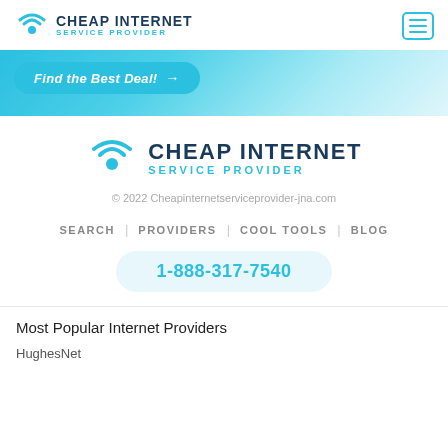[Figure (logo): Cheap Internet Service Provider logo with wireless icon and hamburger menu button in header]
[Figure (infographic): Light blue gradient hero banner with 'Find the Best Deal!' button and arrow]
[Figure (logo): Cheap Internet Service Provider centered logo with wireless icon]
© 2022 Cheapinternetserviceprovider-jna.com
SEARCH | PROVIDERS | COOL TOOLS | BLOG
1-888-317-7540
Most Popular Internet Providers
HughesNet